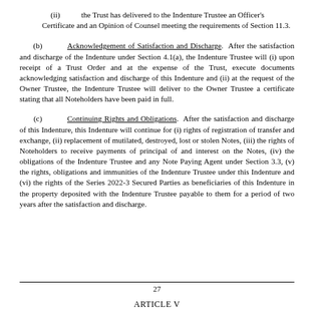(ii) the Trust has delivered to the Indenture Trustee an Officer's Certificate and an Opinion of Counsel meeting the requirements of Section 11.3.
(b) Acknowledgement of Satisfaction and Discharge. After the satisfaction and discharge of the Indenture under Section 4.1(a), the Indenture Trustee will (i) upon receipt of a Trust Order and at the expense of the Trust, execute documents acknowledging satisfaction and discharge of this Indenture and (ii) at the request of the Owner Trustee, the Indenture Trustee will deliver to the Owner Trustee a certificate stating that all Noteholders have been paid in full.
(c) Continuing Rights and Obligations. After the satisfaction and discharge of this Indenture, this Indenture will continue for (i) rights of registration of transfer and exchange, (ii) replacement of mutilated, destroyed, lost or stolen Notes, (iii) the rights of Noteholders to receive payments of principal of and interest on the Notes, (iv) the obligations of the Indenture Trustee and any Note Paying Agent under Section 3.3, (v) the rights, obligations and immunities of the Indenture Trustee under this Indenture and (vi) the rights of the Series 2022-3 Secured Parties as beneficiaries of this Indenture in the property deposited with the Indenture Trustee payable to them for a period of two years after the satisfaction and discharge.
27
ARTICLE V